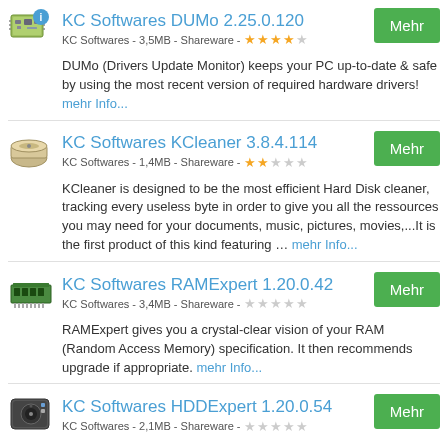KC Softwares DUMo 2.25.0.120 | KC Softwares - 3,5MB - Shareware - ★★★★☆ | DUMo (Drivers Update Monitor) keeps your PC up-to-date & safe by using the most recent version of required hardware drivers! mehr Info...
KC Softwares KCleaner 3.8.4.114 | KC Softwares - 1,4MB - Shareware - ★★☆☆☆ | KCleaner is designed to be the most efficient Hard Disk cleaner, tracking every useless byte in order to give you all the ressources you may need for your documents, music, pictures, movies,...It is the first product of this kind featuring … mehr Info...
KC Softwares RAMExpert 1.20.0.42 | KC Softwares - 3,4MB - Shareware - ☆☆☆☆☆ | RAMExpert gives you a crystal-clear vision of your RAM (Random Access Memory) specification. It then recommends upgrade if appropriate. mehr Info...
KC Softwares HDDExpert 1.20.0.54 | KC Softwares - 2,1MB - Shareware -